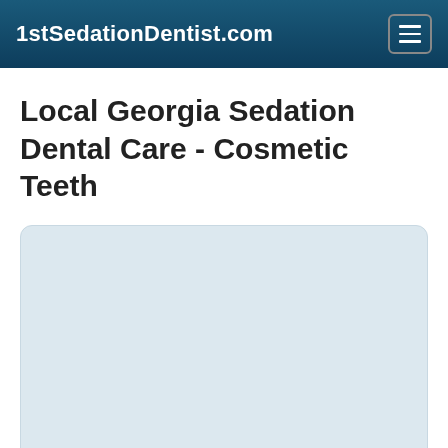1stSedationDentist.com
Local Georgia Sedation Dental Care - Cosmetic Teeth
[Figure (other): A light blue/grey rounded rectangle placeholder box representing an image region on the webpage]